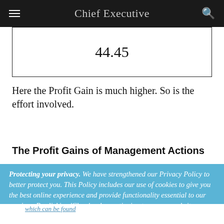Chief Executive
| 44.45 |
Here the Profit Gain is much higher. So is the effort involved.
The Profit Gains of Management Actions
Protecting your privacy. We have strengthened our Privacy Policy to better protect you. This Policy includes our use of cookies to give you the best online experience and provide functionality essential to our services. By clicking ‘Close’ or by continuing to use our website, you are consenting to our
which can be hand...
Accept and Close ×
Your browser settings do not allow cross-site tracking for advertising. Click on this page to allow AdRoll to use cross-site tracking to tailor ads to you. Learn more or opt out of this AdRoll tracking by clicking here. This message only appears once.